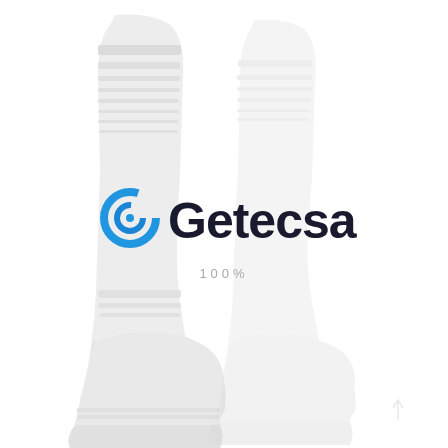[Figure (photo): Two white athletic/sport socks shown side by side against a white background. The socks have ribbed texture and striped patterns near the top. They appear to be crew-length socks.]
[Figure (logo): Getecsa company logo consisting of a blue spiral/swirl icon followed by the text 'Getecsa' in bold dark font, with '100%' written below in light grey spaced text.]